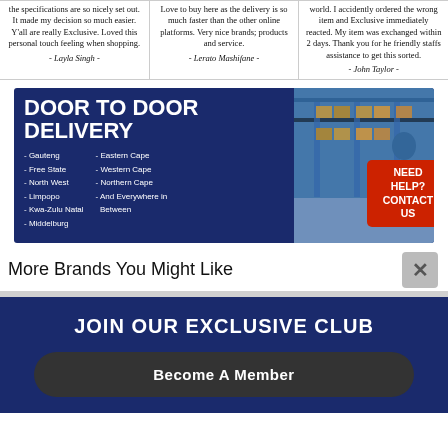the specifications are so nicely set out. It made my decision so much easier. Y'all are really Exclusive. Loved this personal touch feeling when shopping. - Layla Singh -
Love to buy here as the delivery is so much faster than the other online platforms. Very nice brands; products and service. - Lerato Mashifane -
world. I accidently ordered the wrong item and Exclusive immediately reacted. My item was exchanged within 2 days. Thank you for he friendly staffs assistance to get this sorted. - John Taylor -
[Figure (infographic): Door to Door Delivery banner in dark navy blue. Left side has large white bold text 'DOOR TO DOOR DELIVERY' with list of delivery regions: Gauteng, Free State, North West, Limpopo, Kwa-Zulu Natal, Middelburg on left; Eastern Cape, Western Cape, Northern Cape, And Everywhere in Between on right. Right side shows a warehouse worker with boxes. Red button reads 'NEED HELP? CONTACT US'.]
More Brands You Might Like
JOIN OUR EXCLUSIVE CLUB
Become A Member